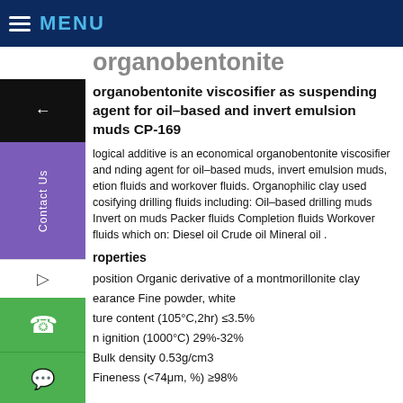MENU
organobentonite viscosifier as suspending agent for oil–based and invert emulsion muds CP-169
rheological additive is an economical organobentonite viscosifier and suspending agent for oil–based muds, invert emulsion muds, completion fluids and workover fluids. Organophilic clay used viscosifying drilling fluids including: Oil–based drilling muds Invert emulsion muds Packer fluids Completion fluids Workover fluids which on: Diesel oil Crude oil Mineral oil .
Properties
Composition Organic derivative of a montmorillonite clay
Appearance Fine powder, white
Moisture content (105°C,2hr) ≤3.5%
Loss on ignition (1000°C) 29%-32%
Bulk density 0.53g/cm3
Fineness (<74μm, %) ≥98%